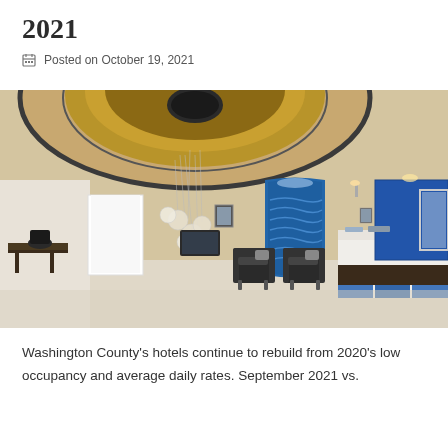2021
Posted on October 19, 2021
[Figure (photo): Hotel lobby interior with circular domed ceiling with warm wood tones, hanging globe chandeliers, two dark armchairs, a blue wavy accent wall feature, and a white front desk check-in counter with blue accent wall behind it.]
Washington County's hotels continue to rebuild from 2020's low occupancy and average daily rates. September 2021 vs.